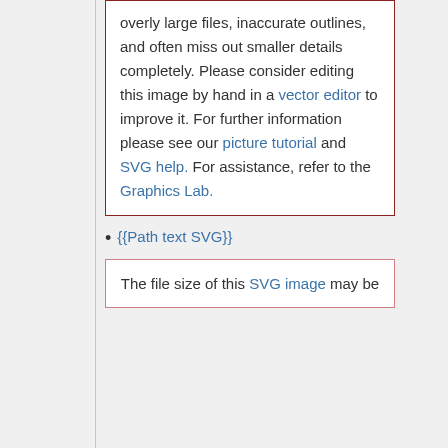overly large files, inaccurate outlines, and often miss out smaller details completely. Please consider editing this image by hand in a vector editor to improve it. For further information please see our picture tutorial and SVG help. For assistance, refer to the Graphics Lab.
{{Path text SVG}}
The file size of this SVG image may be